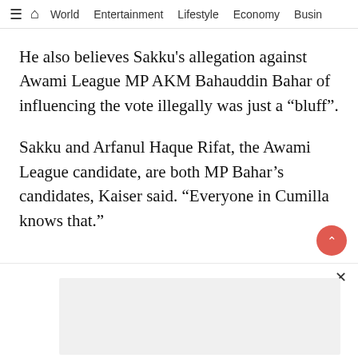≡ 🏠 World   Entertainment   Lifestyle   Economy   Busin
He also believes Sakku's allegation against Awami League MP AKM Bahauddin Bahar of influencing the vote illegally was just a “bluff”.
Sakku and Arfanul Haque Rifat, the Awami League candidate, are both MP Bahar’s candidates, Kaiser said. “Everyone in Cumilla knows that.”